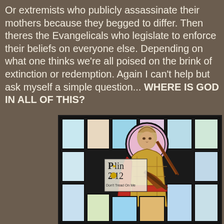Or extremists who publicly assassinate their mothers because they begged to differ. Then theres the Evangelicals who legislate to enforce their beliefs on everyone else. Depending on what one thinks we're all poised on the brink of extinction or redemption. Again I can't help but ask myself a simple question... WHERE IS GOD IN ALL OF THIS?
[Figure (illustration): A stained glass window style illustration depicting a figure in medieval armor/golden robes holding a rifle, with a halo behind their head. The image contains text reading 'Palin 2012 Don't Tread On Me'. The style mimics religious stained glass iconography with colorful geometric background panels.]